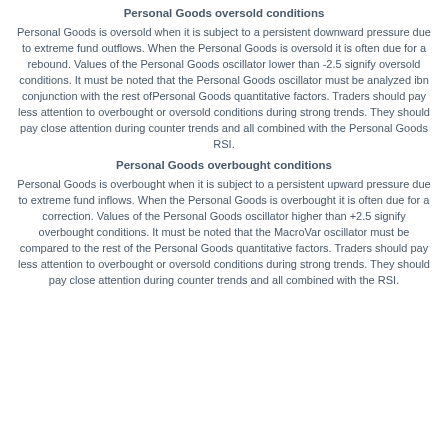Personal Goods oversold conditions
Personal Goods is oversold when it is subject to a persistent downward pressure due to extreme fund outflows. When the Personal Goods is oversold it is often due for a rebound. Values of the Personal Goods oscillator lower than -2.5 signify oversold conditions. It must be noted that the Personal Goods oscillator must be analyzed ibn conjunction with the rest ofPersonal Goods quantitative factors. Traders should pay less attention to overbought or oversold conditions during strong trends. They should pay close attention during counter trends and all combined with the Personal Goods RSI.
Personal Goods overbought conditions
Personal Goods is overbought when it is subject to a persistent upward pressure due to extreme fund inflows. When the Personal Goods is overbought it is often due for a correction. Values of the Personal Goods oscillator higher than +2.5 signify overbought conditions. It must be noted that the MacroVar oscillator must be compared to the rest of the Personal Goods quantitative factors. Traders should pay less attention to overbought or oversold conditions during strong trends. They should pay close attention during counter trends and all combined with the RSI.